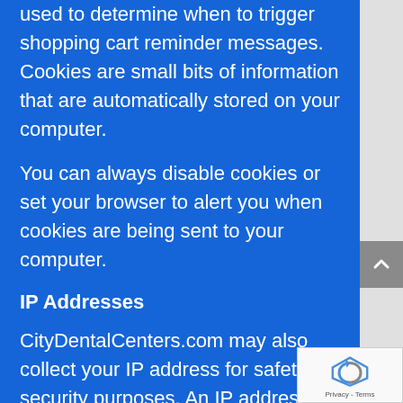used to determine when to trigger shopping cart reminder messages. Cookies are small bits of information that are automatically stored on your computer.
You can always disable cookies or set your browser to alert you when cookies are being sent to your computer.
IP Addresses
CityDentalCenters.com may also collect your IP address for safety and security purposes. An IP address is a number that is used by computers on the network to identify your computer every time you log on to the Internet.